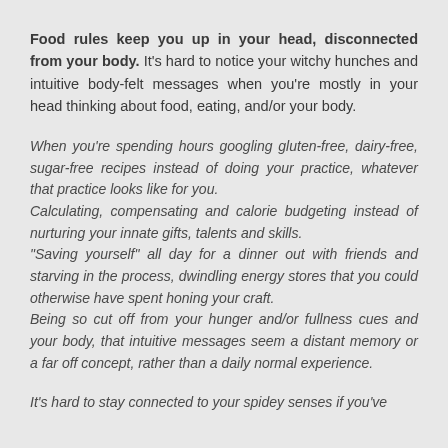Food rules keep you up in your head, disconnected from your body. It's hard to notice your witchy hunches and intuitive body-felt messages when you're mostly in your head thinking about food, eating, and/or your body.
When you're spending hours googling gluten-free, dairy-free, sugar-free recipes instead of doing your practice, whatever that practice looks like for you.
Calculating, compensating and calorie budgeting instead of nurturing your innate gifts, talents and skills.
"Saving yourself" all day for a dinner out with friends and starving in the process, dwindling energy stores that you could otherwise have spent honing your craft.
Being so cut off from your hunger and/or fullness cues and your body, that intuitive messages seem a distant memory or a far off concept, rather than a daily normal experience.
It's hard to stay connected to your spidey senses if you've